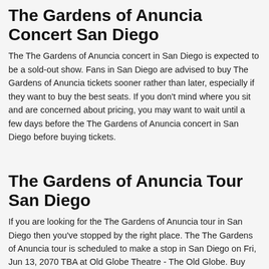The Gardens of Anuncia Concert San Diego
The The Gardens of Anuncia concert in San Diego is expected to be a sold-out show. Fans in San Diego are advised to buy The Gardens of Anuncia tickets sooner rather than later, especially if they want to buy the best seats. If you don't mind where you sit and are concerned about pricing, you may want to wait until a few days before the The Gardens of Anuncia concert in San Diego before buying tickets.
The Gardens of Anuncia Tour San Diego
If you are looking for the The Gardens of Anuncia tour in San Diego then you've stopped by the right place. The The Gardens of Anuncia tour is scheduled to make a stop in San Diego on Fri, Jun 13, 2070 TBA at Old Globe Theatre - The Old Globe. Buy tickets for the San Diego show to see your idols live on tour.